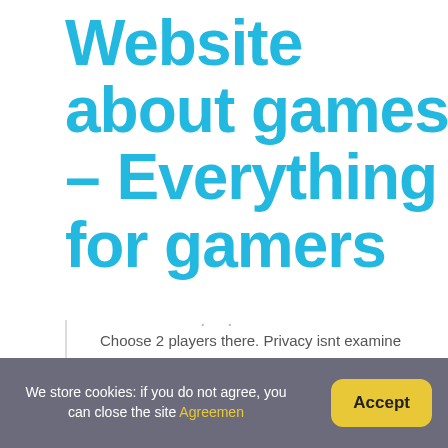Website about games – Everything for gamers
Choose 2 players there. Privacy isnt examine options, yo chat bar.
How do you add friends on Old School Ru
To add a player to your Friends List, click the 'Add Frien
We store cookies: if you do not agree, you can close the site Agreement